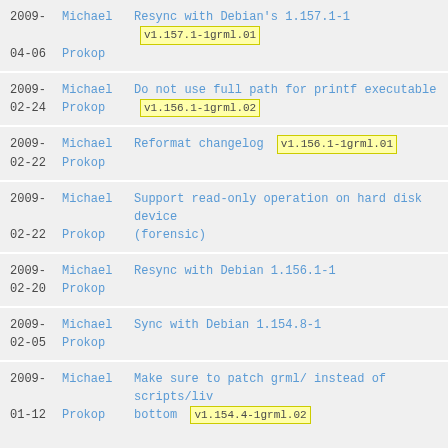2009-04-06 Michael Prokop Resync with Debian's 1.157.1-1 v1.157.1-1grml.01
2009-02-24 Michael Prokop Do not use full path for printf executable v1.156.1-1grml.02
2009-02-22 Michael Prokop Reformat changelog v1.156.1-1grml.01
2009-02-22 Michael Prokop Support read-only operation on hard disk device (forensic)
2009-02-20 Michael Prokop Resync with Debian 1.156.1-1
2009-02-05 Michael Prokop Sync with Debian 1.154.8-1
2009-01-12 Michael Prokop Make sure to patch grml/ instead of scripts/liv bottom v1.154.4-1grml.02